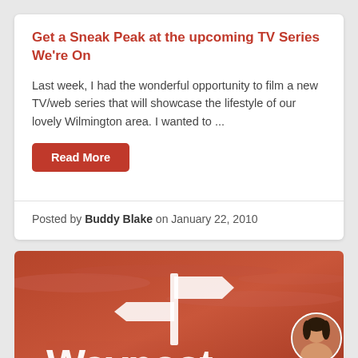Get a Sneak Peak at the upcoming TV Series We're On
Last week, I had the wonderful opportunity to film a new TV/web series that will showcase the lifestyle of our lovely Wilmington area. I wanted to ...
Read More
Posted by Buddy Blake on January 22, 2010
[Figure (logo): Waypost logo with directional signpost on a reddish-orange sky background. The word 'Waypost' appears in large white text with a white signpost icon above it.]